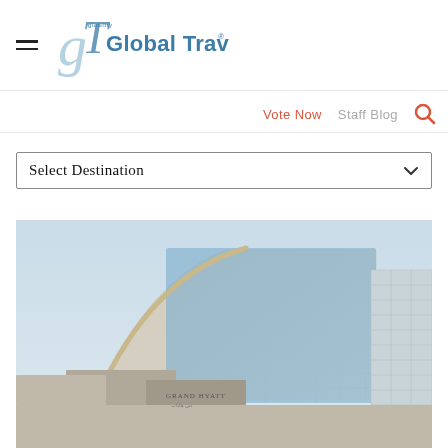Global Traveler
Vote Now  Staff Blog
Select Destination
[Figure (photo): Exterior facade of a large modern hotel building with curved glass and stone cladding, featuring Grand Hyatt branding visible at the entrance, photographed at dusk with a clear sky.]